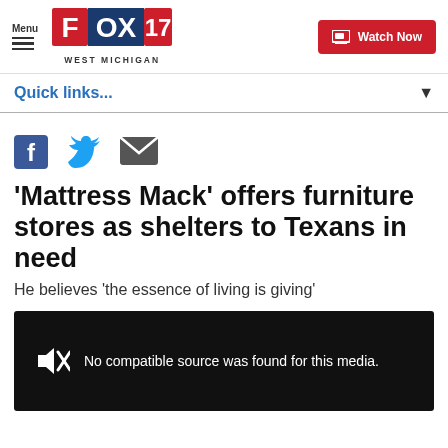FOX 17 WEST MICHIGAN — Menu | Watch Now
Quick links...
[Figure (infographic): Social share icons: Facebook, Twitter, Email]
'Mattress Mack' offers furniture stores as shelters to Texans in need
He believes 'the essence of living is giving'
[Figure (screenshot): Video player showing: No compatible source was found for this media.]